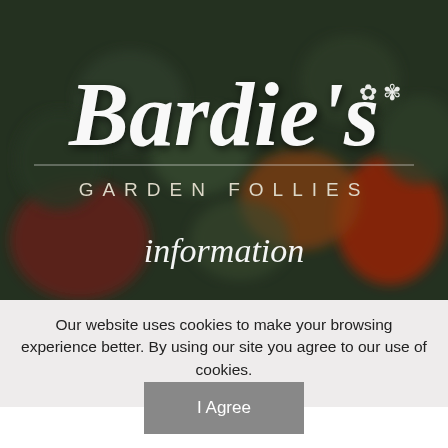[Figure (photo): Blurred dark garden background with colorful flowers (red, orange), overlaid with Bardie's Garden Follies logo in white italic script, subtitle 'GARDEN FOLLIES' in spaced caps, and 'information' in italic script below.]
Our website uses cookies to make your browsing experience better. By using our site you agree to our use of cookies.
Learn More
I Agree